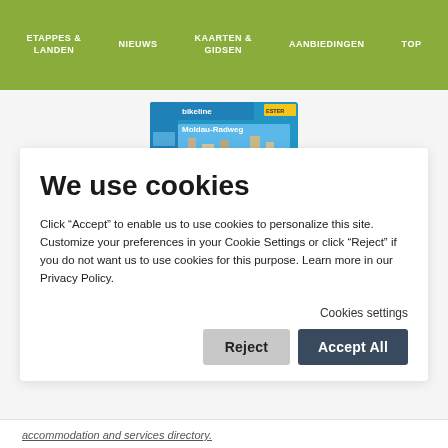ETAPPES & LANDEN | NIEUWS | KAARTEN & GIDSEN | AANBIEDINGEN | TOP
[Figure (photo): Cover of the Moldau-Radweg cycling guide book (Bikeline series), showing a blue cover with a bridge/city image and yellow logo.]
We use cookies
Click “Accept” to enable us to use cookies to personalize this site. Customize your preferences in your Cookie Settings or click “Reject” if you do not want us to use cookies for this purpose. Learn more in our Privacy Policy.
Cookies settings
Reject
Accept All
accommodation and services directory.